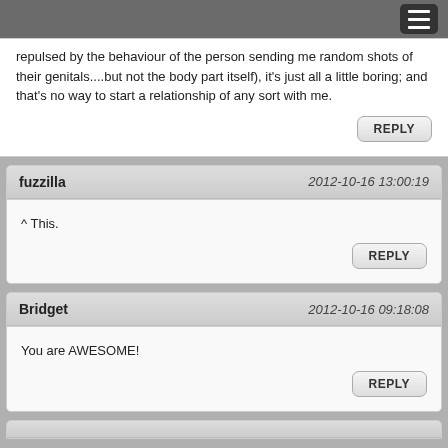repulsed by the behaviour of the person sending me random shots of their genitals....but not the body part itself), it's just all a little boring; and that's no way to start a relationship of any sort with me.
REPLY
fuzzilla   2012-10-16 13:00:19
^ This.
REPLY
Bridget   2012-10-16 09:18:08
You are AWESOME!
REPLY